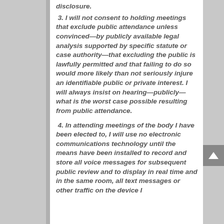disclosure.
3. I will not consent to holding meetings that exclude public attendance unless convinced—by publicly available legal analysis supported by specific statute or case authority—that excluding the public is lawfully permitted and that failing to do so would more likely than not seriously injure an identifiable public or private interest. I will always insist on hearing—publicly—what is the worst case possible resulting from public attendance.
4. In attending meetings of the body I have been elected to, I will use no electronic communications technology until the means have been installed to record and store all voice messages for subsequent public review and to display in real time and in the same room, all text messages or other traffic on the device I